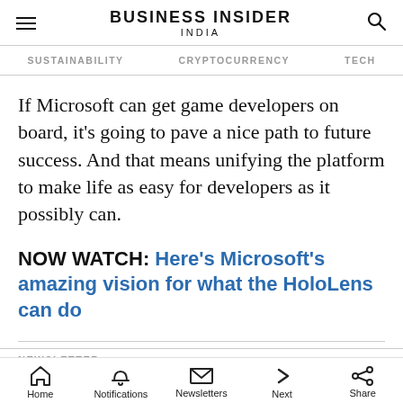BUSINESS INSIDER INDIA
SUSTAINABILITY   CRYPTOCURRENCY   TECH
If Microsoft can get game developers on board, it's going to pave a nice path to future success. And that means unifying the platform to make life as easy for developers as it possibly can.
NOW WATCH: Here's Microsoft's amazing vision for what the HoloLens can do
NEWSLETTER
Home   Notifications   Newsletters   Next   Share